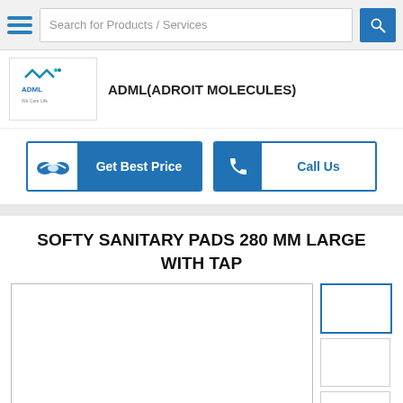Search for Products / Services
ADML(ADROIT MOLECULES)
Get Best Price
Call Us
SOFTY SANITARY PADS 280 MM LARGE WITH TAP
[Figure (photo): Product image area with main large image placeholder and three thumbnail images on the right side]